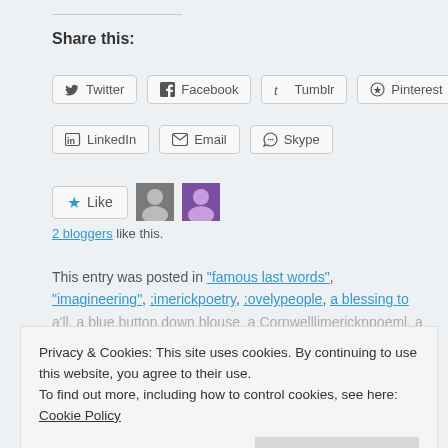Share this:
Twitter  Facebook  Tumblr  Pinterest
LinkedIn  Email  Skype
Like  2 bloggers like this.
This entry was posted in "famous last words", "imagineering", ;imerickpoetry, ;ovelypeople, a blessing to
Privacy & Cookies: This site uses cookies. By continuing to use this website, you agree to their use. To find out more, including how to control cookies, see here: Cookie Policy  Close and accept
magic, a reader's own envisioning, a repeated sales reminder!,